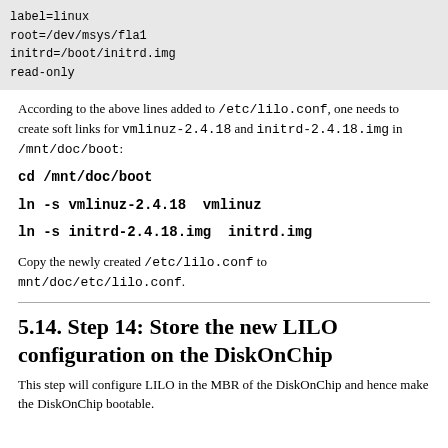label=linux
root=/dev/msys/fla1
initrd=/boot/initrd.img
read-only
According to the above lines added to /etc/lilo.conf, one needs to create soft links for vmlinuz-2.4.18 and initrd-2.4.18.img in /mnt/doc/boot:
cd /mnt/doc/boot
ln -s vmlinuz-2.4.18  vmlinuz
ln -s initrd-2.4.18.img  initrd.img
Copy the newly created /etc/lilo.conf to mnt/doc/etc/lilo.conf.
5.14. Step 14: Store the new LILO configuration on the DiskOnChip
This step will configure LILO in the MBR of the DiskOnChip and hence make the DiskOnChip bootable.